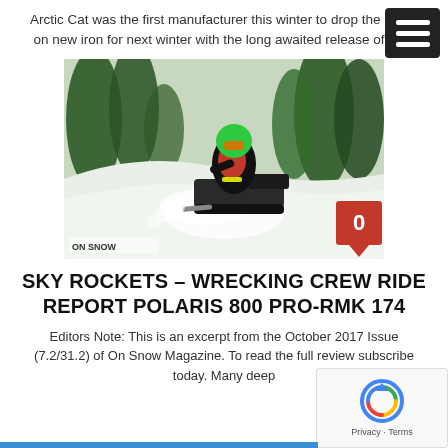Arctic Cat was the first manufacturer this winter to drop the bomb on new iron for next winter with the long awaited release of their
[Figure (photo): A snowmobile rider in a colorful helmet and gear riding a snowmobile through deep snow in a forested snowy terrain. A red badge with the number 0 is overlaid in the bottom-right corner of the image.]
SKY ROCKETS – WRECKING CREW RIDE REPORT POLARIS 800 PRO-RMK 174
Editors Note: This is an excerpt from the October 2017 Issue (7.2/31.2) of On Snow Magazine. To read the full review subscribe today. Many deep